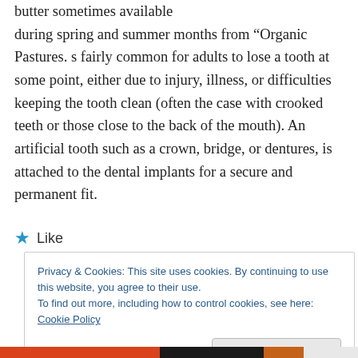butter sometimes available during spring and summer months from “Organic Pastures. s fairly common for adults to lose a tooth at some point, either due to injury, illness, or difficulties keeping the tooth clean (often the case with crooked teeth or those close to the back of the mouth). An artificial tooth such as a crown, bridge, or dentures, is attached to the dental implants for a secure and permanent fit.
★ Like
Privacy & Cookies: This site uses cookies. By continuing to use this website, you agree to their use.
To find out more, including how to control cookies, see here: Cookie Policy